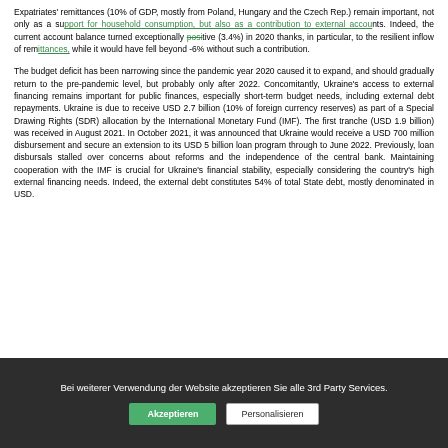Expatriates' remittances (10% of GDP, mostly from Poland, Hungary and the Czech Rep.) remain important, not only as a support for household consumption, but also as a contribution to external accounts. Indeed, the current account balance turned exceptionally positive (3.4%) in 2020 thanks, in particular, to the resilient inflow of remittances, while it would have fell beyond -6% without such a contribution.
The budget deficit has been narrowing since the pandemic year 2020 caused it to expand, and should gradually return to the pre-pandemic level, but probably only after 2022. Concomitantly, Ukraine's access to external financing remains important for public finances, especially short-term budget needs, including external debt repayments. Ukraine is due to receive USD 2.7 billion (10% of foreign currency reserves) as part of a Special Drawing Rights (SDR) allocation by the International Monetary Fund (IMF). The first tranche (USD 1.9 billion) was received in August 2021. In October 2021, it was announced that Ukraine would receive a USD 700 million disbursement and secure an extension to its USD 5 billion loan program through to June 2022. Previously, loan disbursals stalled over concerns about reforms and the independence of the central bank. Maintaining cooperation with the IMF is crucial for Ukraine's financial stability, especially considering the country's high external financing needs. Indeed, the external debt constitutes 54% of total State debt, mostly denominated in USD.
Bei weiterer Verwendung der Website akzeptieren Sie alle 3rd Party Services. [Akzeptieren] [Personalisieren]